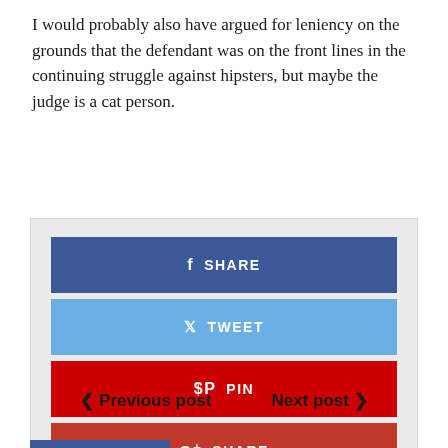I would probably also have argued for leniency on the grounds that the defendant was on the front lines in the continuing struggle against hipsters, but maybe the judge is a cat person.
[Figure (infographic): Social sharing buttons: Facebook SHARE (dark blue), Twitter TWEET (light blue), Pinterest PIN (red), Google+ SHARE (dark red), all inside a light gray box]
< Previous post    Next post >